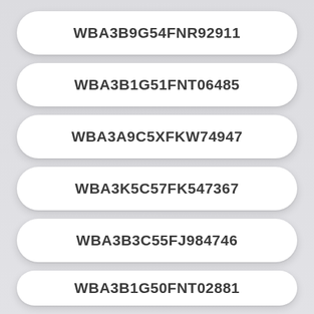WBA3B9G54FNR92911
WBA3B1G51FNT06485
WBA3A9C5XFKW74947
WBA3K5C57FK547367
WBA3B3C55FJ984746
WBA3B1G50FNT02881